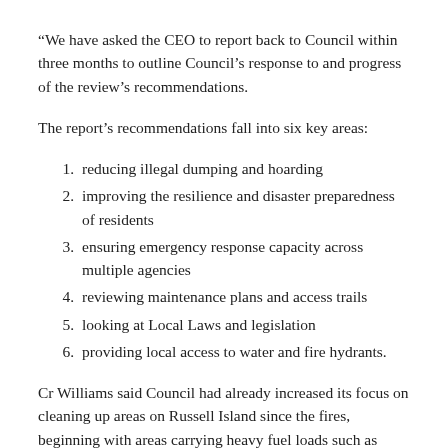“We have asked the CEO to report back to Council within three months to outline Council’s response to and progress of the review’s recommendations.
The report’s recommendations fall into six key areas:
reducing illegal dumping and hoarding
improving the resilience and disaster preparedness of residents
ensuring emergency response capacity across multiple agencies
reviewing maintenance plans and access trails
looking at Local Laws and legislation
providing local access to water and fire hydrants.
Cr Williams said Council had already increased its focus on cleaning up areas on Russell Island since the fires, beginning with areas carrying heavy fuel loads such as dumped green